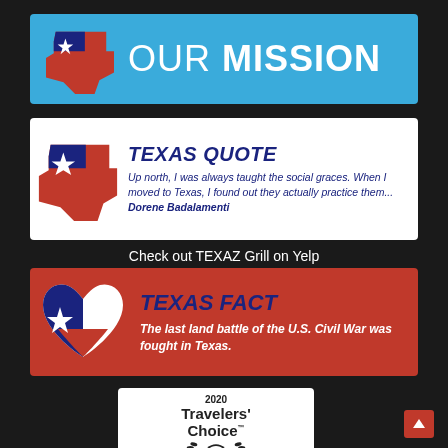[Figure (infographic): Blue banner with Texas state shape icon and text OUR MISSION in white]
[Figure (infographic): White banner with Texas map icon and italic text TEXAS QUOTE: Up north, I was always taught the social graces. When I moved to Texas, I found out they actually practice them... Dorene Badalamenti]
Check out TEXAZ Grill on Yelp
[Figure (infographic): Red banner with Texas heart icon and text TEXAS FACT: The last land battle of the U.S. Civil War was fought in Texas.]
[Figure (logo): 2020 Travelers' Choice Tripadvisor badge with owl logo]